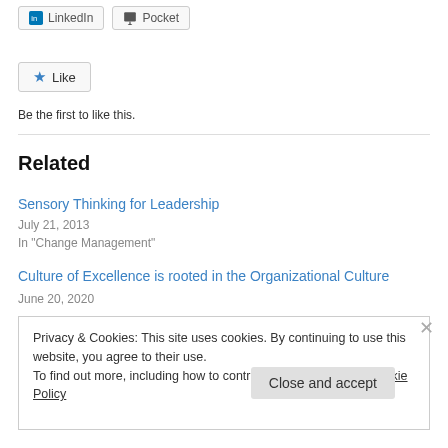[Figure (other): Share buttons: LinkedIn and Pocket]
[Figure (other): Like button with blue star icon]
Be the first to like this.
Related
Sensory Thinking for Leadership
July 21, 2013
In "Change Management"
Culture of Excellence is rooted in the Organizational Culture
June 20, 2020
Privacy & Cookies: This site uses cookies. By continuing to use this website, you agree to their use.
To find out more, including how to control cookies, see here: Cookie Policy